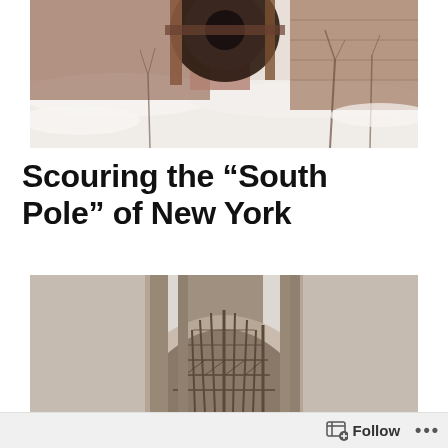[Figure (photo): Snowy winter scene with abandoned or old industrial machinery partially buried in snow, bare trees in the background, brownish-red brick structure visible]
Scouring the “South Pole” of New York
[Figure (photo): Underside view of a large bridge tower or arch structure, showing detailed steel lattice work and stone masonry pillars, photographed from below looking upward in foggy/grey conditions]